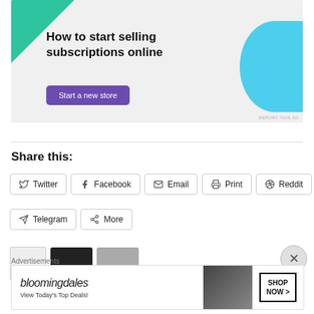[Figure (illustration): Advertisement banner with green triangle top-left, cyan circle right side, bold text 'How to start selling subscriptions online', purple 'Start a new store' button, gray background]
Share this:
Twitter
Facebook
Email
Print
Reddit
Telegram
More
Advertisements
[Figure (illustration): Bloomingdale's advertisement: logo, 'View Today's Top Deals!' text, woman in hat image, 'SHOP NOW >' box]